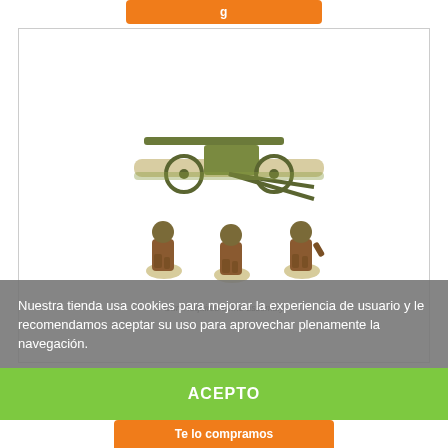[Figure (photo): Product photo of French 25mm AT Gun and 3 crew miniatures on a base, with three infantry figures below. Caption reads: Gun Requires some assembly]
French 25mm AT Gun & 3 Crew
14.94 €
16.60 €
-10%
Nuestra tienda usa cookies para mejorar la experiencia de usuario y le recomendamos aceptar su uso para aprovechar plenamente la navegación.
Más información
Gestionar cookies
ACEPTO